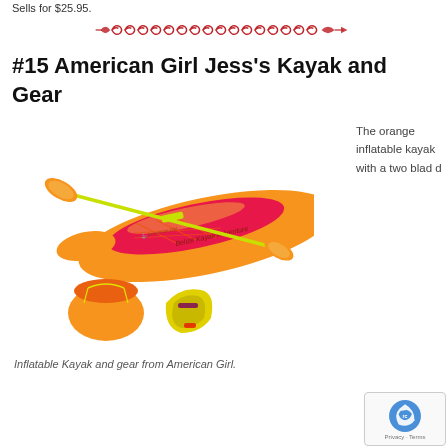Sells for $25.95.
[Figure (illustration): Decorative red/dark-red scroll/wave divider border illustration]
#15 American Girl Jess's Kayak and Gear
[Figure (photo): Inflatable orange kayak labeled 'Belize Kayak Adventure' with a two-bladed paddle, orange bag, and yellow life vest/jacket from American Girl.]
Inflatable Kayak and gear from American Girl.
The orange inflatable kayak with a two blad d